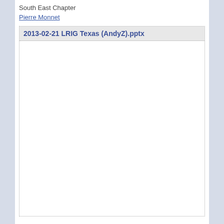South East Chapter
Pierre Monnet
2013-02-21 LRIG Texas (AndyZ).pptx